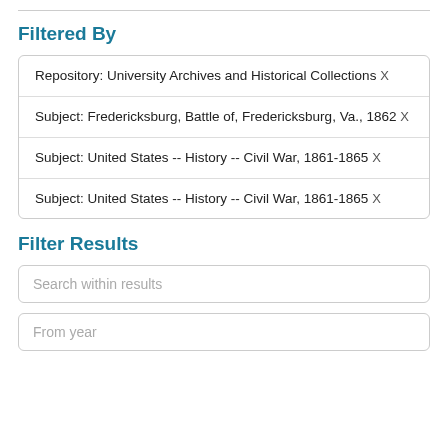Filtered By
Repository: University Archives and Historical Collections X
Subject: Fredericksburg, Battle of, Fredericksburg, Va., 1862 X
Subject: United States -- History -- Civil War, 1861-1865 X
Subject: United States -- History -- Civil War, 1861-1865 X
Filter Results
Search within results
From year